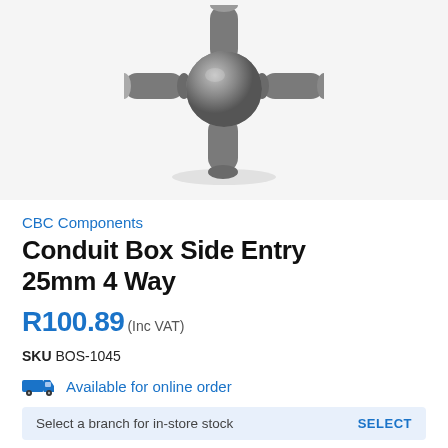[Figure (photo): Metal conduit box side entry 25mm 4-way fitting, dark grey/silver, with four cylindrical openings arranged in a cross/T pattern with a central spherical hub, photographed on white background.]
CBC Components
Conduit Box Side Entry 25mm 4 Way
R100.89(Inc VAT)
SKU BOS-1045
Available for online order
Select a branch for in-store stock    SELECT